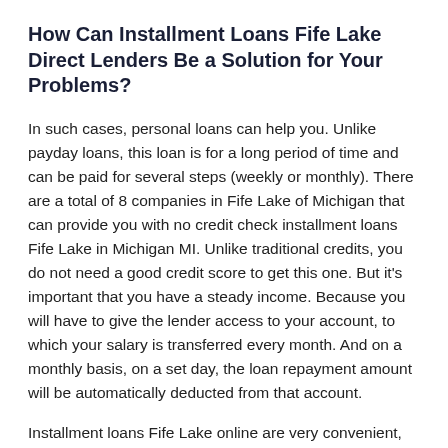How Can Installment Loans Fife Lake Direct Lenders Be a Solution for Your Problems?
In such cases, personal loans can help you. Unlike payday loans, this loan is for a long period of time and can be paid for several steps (weekly or monthly). There are a total of 8 companies in Fife Lake of Michigan that can provide you with no credit check installment loans Fife Lake in Michigan MI. Unlike traditional credits, you do not need a good credit score to get this one. But it's important that you have a steady income. Because you will have to give the lender access to your account, to which your salary is transferred every month. And on a monthly basis, on a set day, the loan repayment amount will be automatically deducted from that account.
Installment loans Fife Lake online are very convenient, but at the same time, very expensive. The interest rate on such